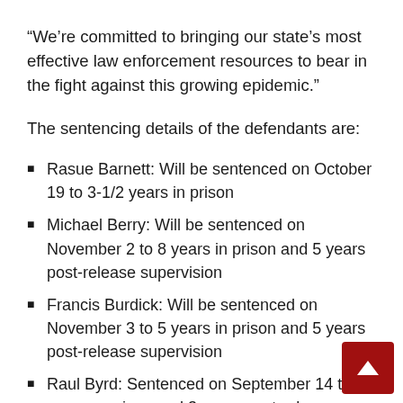“We’re committed to bringing our state’s most effective law enforcement resources to bear in the fight against this growing epidemic.”
The sentencing details of the defendants are:
Rasue Barnett: Will be sentenced on October 19 to 3-1/2 years in prison
Michael Berry: Will be sentenced on November 2 to 8 years in prison and 5 years post-release supervision
Francis Burdick: Will be sentenced on November 3 to 5 years in prison and 5 years post-release supervision
Raul Byrd: Sentenced on September 14 to 4 years in prison and 3 years post-release supervision
Demetrius Brown: Will be sentenced on...